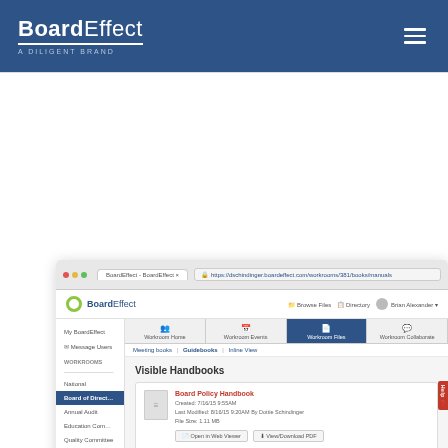BoardEffect A DILIGENT BRAND
[Figure (screenshot): Screenshot of BoardEffect web application showing Visible Handbooks page with Board Policy Handbook listed. Browser shows URL https://dschindinger.boardeffect.com/workrooms/381/books/manuals. App navigation shows Workroom Home, Workroom Events, Workroom Files (active), Workroom Collaborate tabs. Left sidebar shows My BoardEffect, Message Users, Workrooms sections with National, Board of Directors (active), Annual Audit, Education Committee, Quality Committee, CCFA items. Main content shows 'Visible Handbooks' heading with a Board Policy Handbook card showing creation date 7/16/15 9:55AM, last modified 8/16/15 9:20AM By Dottie Schindinger, file size 1.11 MB, with Open in Web Viewer and View/Download PDF buttons.]